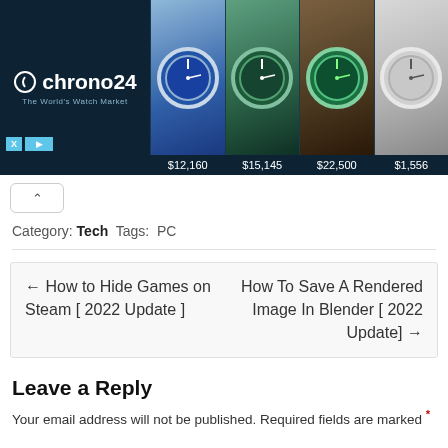[Figure (screenshot): Chrono24 advertisement banner showing luxury watches with prices: $12,160, $15,145, $22,500, $1,556]
^ (collapse button)
Category: Tech  Tags: PC
← How to Hide Games on Steam [ 2022 Update ]
How To Save A Rendered Image In Blender [ 2022 Update] →
Leave a Reply
Your email address will not be published. Required fields are marked *